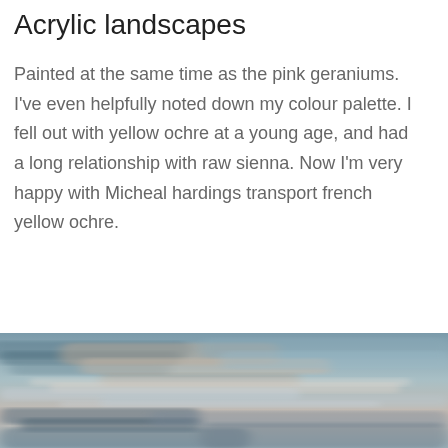Acrylic landscapes
Painted at the same time as the pink geraniums. I've even helpfully noted down my colour palette. I fell out with yellow ochre at a young age, and had a long relationship with raw sienna. Now I'm very happy with Micheal hardings transport french yellow ochre.
Continue Reading
[Figure (photo): An abstract acrylic landscape painting with soft blurred horizontal brush strokes in muted tones of blue-grey, beige, and light grey suggesting a misty seascape or skyscape.]